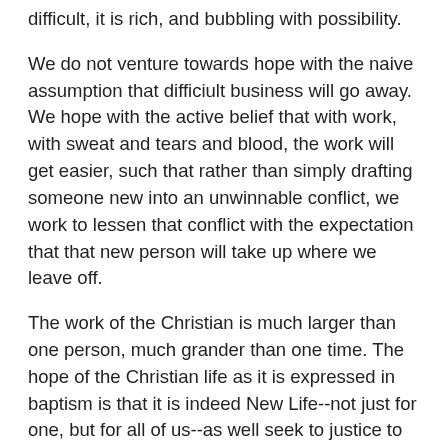difficult, it is rich, and bubbling with possibility.
We do not venture towards hope with the naive assumption that difficiult business will go away. We hope with the active belief that with work, with sweat and tears and blood, the work will get easier, such that rather than simply drafting someone new into an unwinnable conflict, we work to lessen that conflict with the expectation that that new person will take up where we leave off.
The work of the Christian is much larger than one person, much grander than one time. The hope of the Christian life as it is expressed in baptism is that it is indeed New Life--not just for one, but for all of us--as well seek to justice to what we've seen, as we seek to leave the world better off than we found it, as we seek to discern the fine line between what is and what could be.
In dark moments, I am prone despair. But I remember that we are a people called to hope--hope ultimately expressed in the person of Christ--and I quit looking at my shoes and discover God's great work going on all around me. This is